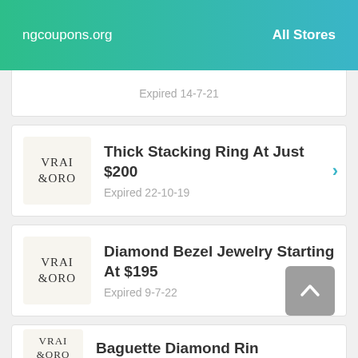ngcoupons.org   All Stores
Expired 14-7-21
Thick Stacking Ring At Just $200
Expired 22-10-19
Diamond Bezel Jewelry Starting At $195
Expired 9-7-22
Baguette Diamond Rin…